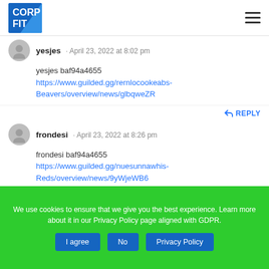CORP FIT
yesjes · April 23, 2022 at 8:02 pm
yesjes baf94a4655
https://www.guilded.gg/rernlocookeabs-Beavers/overview/news/glbqweZR
REPLY
frondesi · April 23, 2022 at 8:26 pm
frondesi baf94a4655
https://www.guilded.gg/nuesunnawhis-Reds/overview/news/9yWjeWB6
We use cookies to ensure that we give you the best experience. Learn more about it in our Privacy Policy page aligned with GDPR.
I agree  No  Privacy Policy